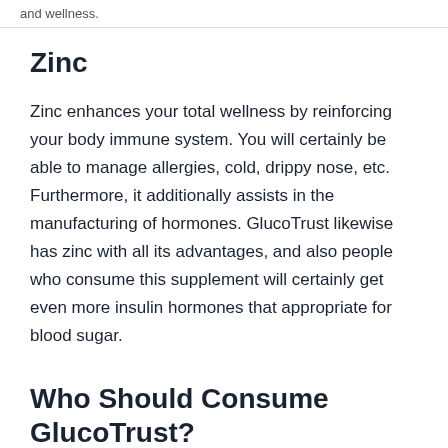and wellness.
Zinc
Zinc enhances your total wellness by reinforcing your body immune system. You will certainly be able to manage allergies, cold, drippy nose, etc. Furthermore, it additionally assists in the manufacturing of hormones. GlucoTrust likewise has zinc with all its advantages, and also people who consume this supplement will certainly get even more insulin hormones that appropriate for blood sugar.
Who Should Consume GlucoTrust?